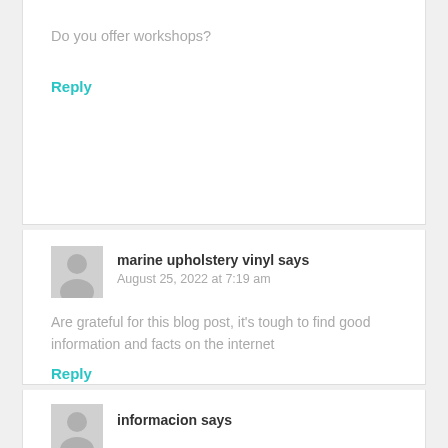Do you offer workshops?
Reply
marine upholstery vinyl says
August 25, 2022 at 7:19 am
Are grateful for this blog post, it's tough to find good information and facts on the internet
Reply
informacion says